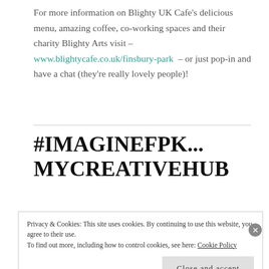For more information on Blighty UK Cafe's delicious menu, amazing coffee, co-working spaces and their charity Blighty Arts visit – www.blightycafe.co.uk/finsbury-park – or just pop-in and have a chat (they're really lovely people)!
#IMAGINEFPK... MYCREATIVEHUB
Privacy & Cookies: This site uses cookies. By continuing to use this website, you agree to their use. To find out more, including how to control cookies, see here: Cookie Policy  Close and accept